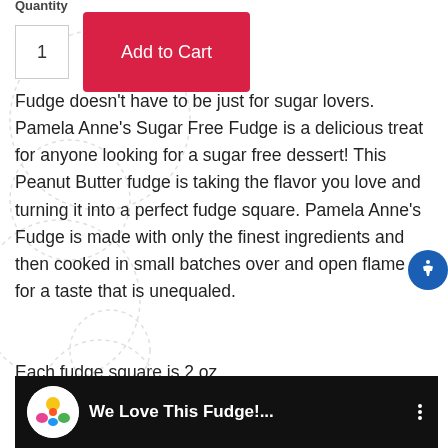Quantity
1
Add to Cart
Fudge doesn't have to be just for sugar lovers. Pamela Anne's Sugar Free Fudge is a delicious treat for anyone looking for a sugar free dessert! This Peanut Butter fudge is taking the flavor you love and turning it into a perfect fudge square. Pamela Anne's Fudge is made with only the finest ingredients and then cooked in small batches over and open flame for a taste that is unequaled.
Each fudge square is 2 oz.
[Figure (screenshot): Video thumbnail bar showing a circular logo and text 'We Love This Fudge!...' with three-dot menu on black background]